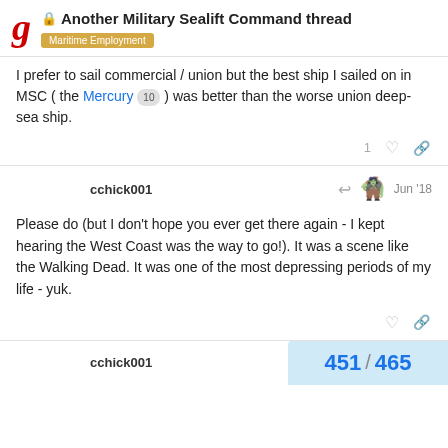Another Military Sealift Command thread — Maritime Employment
I prefer to sail commercial / union but the best ship I sailed on in MSC ( the Mercury [10] ) was better than the worse union deep-sea ship.
cchick001  Jun '18
Please do (but I don't hope you ever get there again - I kept hearing the West Coast was the way to go!). It was a scene like the Walking Dead. It was one of the most depressing periods of my life - yuk.
cchick001
451 / 465